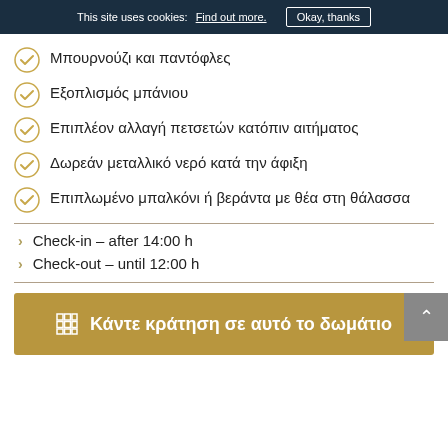This site uses cookies: Find out more. Okay, thanks
Μπουρνούζι και παντόφλες
Εξοπλισμός μπάνιου
Επιπλέον αλλαγή πετσετών κατόπιν αιτήματος
Δωρεάν μεταλλικό νερό κατά την άφιξη
Επιπλωμένο μπαλκόνι ή βεράντα με θέα στη θάλασσα
Check-in – after 14:00 h
Check-out – until 12:00 h
Κάντε κράτηση σε αυτό το δωμάτιο